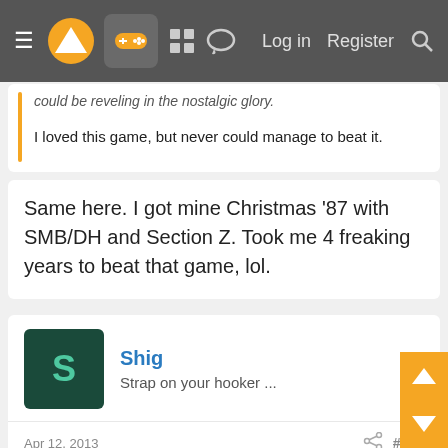Navigation bar with menu, logo, gamepad icon, grid icon, chat icon, Log in, Register, Search
could be reveling in the nostalgic glory.
I loved this game, but never could manage to beat it.
Same here. I got mine Christmas '87 with SMB/DH and Section Z. Took me 4 freaking years to beat that game, lol.
Shig
Strap on your hooker ...
Apr 12, 2013
#333
Has there been much of a movement to "re-localize" some of the more aggressively westernized titles of this era? I know Aeon Genesis did this with Directive: Solbrain (which became Shatterhand here), but nothing else comes immediately to